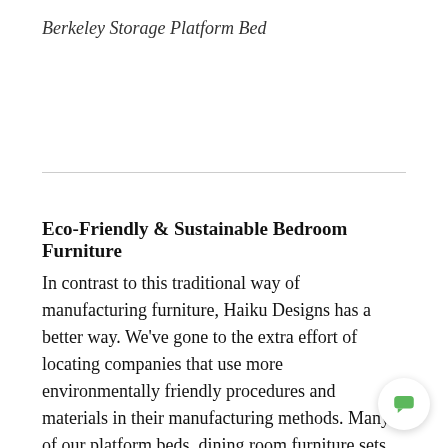Berkeley Storage Platform Bed
Eco-Friendly & Sustainable Bedroom Furniture
In contrast to this traditional way of manufacturing furniture, Haiku Designs has a better way. We've gone to the extra effort of locating companies that use more environmentally friendly procedures and materials in their manufacturing methods. Many of our platform beds, dining room furniture sets, and contemporary bedroom furniture pieces offer the consumer a it...